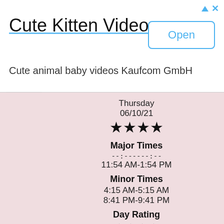[Figure (screenshot): Ad banner for Cute Kitten Videos app by Kaufcom GmbH with Open button]
Cute Kitten Videos
Cute animal baby videos Kaufcom GmbH
Thursday
06/10/21
★★★★
Major Times
--:------:--
11:54 AM-1:54 PM
Minor Times
4:15 AM-5:15 AM
8:41 PM-9:41 PM
Day Rating
★★★★
Best
Sun Data
Rise: 4:55 AM
Set: 8:53 PM
Day Length